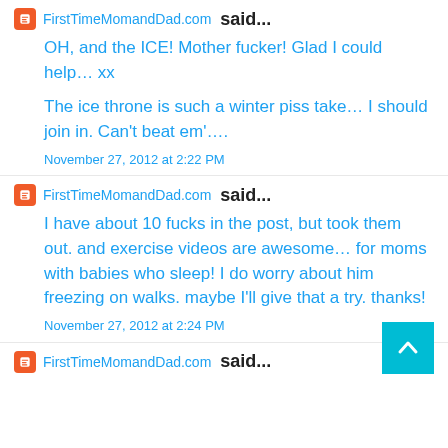FirstTimeMomandDad.com said...
OH, and the ICE! Mother fucker! Glad I could help… xx
The ice throne is such a winter piss take… I should join in. Can't beat em'….
November 27, 2012 at 2:22 PM
FirstTimeMomandDad.com said...
I have about 10 fucks in the post, but took them out. and exercise videos are awesome… for moms with babies who sleep! I do worry about him freezing on walks. maybe I'll give that a try. thanks!
November 27, 2012 at 2:24 PM
FirstTimeMomandDad.com said...